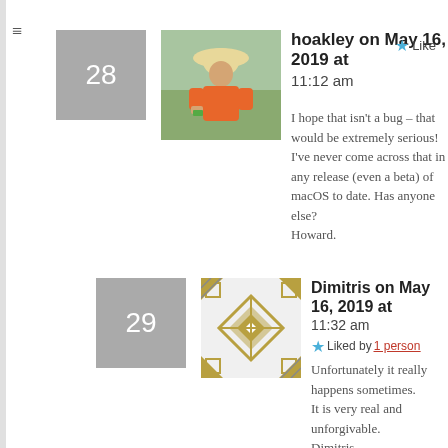≡
28
[Figure (photo): Avatar photo of hoakley, person in orange jacket and hat outdoors]
hoakley on May 16, 2019 at 11:12 am
Like
I hope that isn't a bug – that would be extremely serious!
I've never come across that in any release (even a beta) of macOS to date. Has anyone else?
Howard.
29
[Figure (illustration): Avatar illustration for Dimitris, geometric pattern]
Dimitris on May 16, 2019 at 11:32 am
Liked by 1 person
Unfortunately it really happens sometimes.
It is very real and unforgivable.
Dimitris.